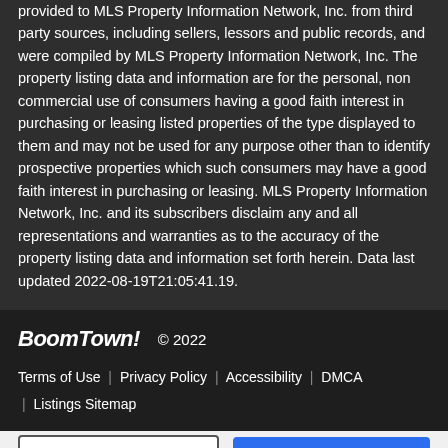provided to MLS Property Information Network, Inc. from third party sources, including sellers, lessors and public records, and were compiled by MLS Property Information Network, Inc. The property listing data and information are for the personal, non commercial use of consumers having a good faith interest in purchasing or leasing listed properties of the type displayed to them and may not be used for any purpose other than to identify prospective properties which such consumers may have a good faith interest in purchasing or leasing. MLS Property Information Network, Inc. and its subscribers disclaim any and all representations and warranties as to the accuracy of the property listing data and information set forth herein. Data last updated 2022-08-19T21:05:41.19.
BoomTown! © 2022 | Terms of Use | Privacy Policy | Accessibility | DMCA | Listings Sitemap
Take a Tour  Ask A Question